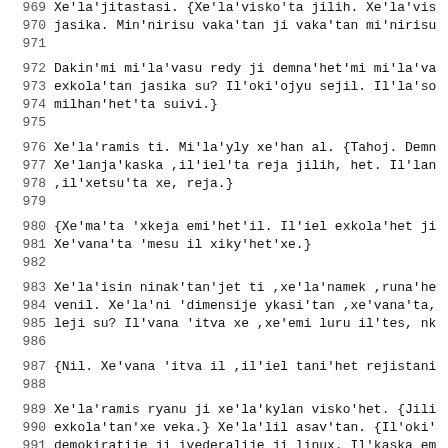969  Xe'la'jitastasi. {Xe'la'visko'ta jilih. Xe'la'vis
970  jasika. Min'nirisu vaka'tan ji vaka'tan mi'nirisu
971
972  Dakin'mi mi'la'vasu redy ji demna'het'mi mi'la'va
973  exkola'tan jasika su? Il'oki'ojyu sejil. Il'la'so
974  milhan'het'ta suivi.}
975
976  Xe'la'ramis ti. Mi'la'yly xe'han al. {Tahoj. Demn
977  Xe'lanja'kaska ,il'iel'ta reja jilih, het. Il'lan
978  ,il'xetsu'ta xe, reja.}
979
980  {Xe'ma'ta 'xkeja emi'het'il. Il'iel exkola'het ji
981  Xe'vana'ta 'mesu il xiky'het'xe.}
982
983  Xe'la'isin ninak'tan'jet ti ,xe'la'namek ,runa'he
984  venil. Xe'la'ni 'dimensije ykasi'tan ,xe'vana'ta,
985  leji su? Il'vana 'itva xe ,xe'emi luru il'tes, nk
986
987  {Nil. Xe'vana 'itva il ,il'iel tani'het rejistani
988
989  Xe'la'ramis ryanu ji xe'la'kylan visko'het. {Jili
990  exkola'tan'xe veka.} Xe'la'lil asav'tan. {Il'oki'
991  demokiratije ji ivederalije ji linux. Il'kaska em